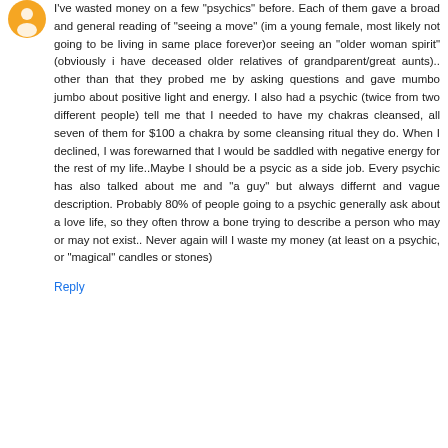[Figure (illustration): Orange circular avatar icon, partially visible at top-left]
I've wasted money on a few "psychics" before. Each of them gave a broad and general reading of "seeing a move" (im a young female, most likely not going to be living in same place forever)or seeing an "older woman spirit" (obviously i have deceased older relatives of grandparent/great aunts).. other than that they probed me by asking questions and gave mumbo jumbo about positive light and energy. I also had a psychic (twice from two different people) tell me that I needed to have my chakras cleansed, all seven of them for $100 a chakra by some cleansing ritual they do. When I declined, I was forewarned that I would be saddled with negative energy for the rest of my life..Maybe I should be a psycic as a side job. Every psychic has also talked about me and "a guy" but always differnt and vague description. Probably 80% of people going to a psychic generally ask about a love life, so they often throw a bone trying to describe a person who may or may not exist.. Never again will I waste my money (at least on a psychic, or "magical" candles or stones)
Reply